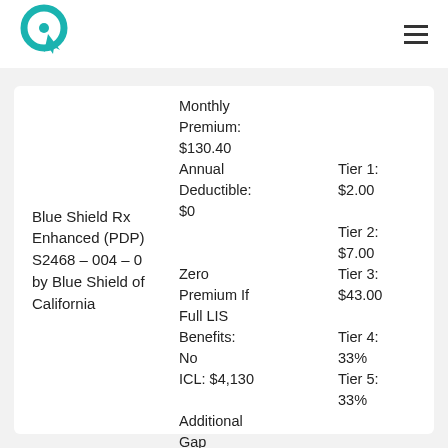Logo and navigation header
Blue Shield Rx Enhanced (PDP) S2468 – 004 – 0 by Blue Shield of California
| Plan Details | Cost |
| --- | --- |
| Monthly Premium: $130.40 |  |
| Annual Deductible: $0 | Tier 1: $2.00 |
| Zero Premium If Full LIS Benefits: No | Tier 2: $7.00 |
| ICL: $4,130 | Tier 3: $43.00 |
| Additional Gap Coverage: No | Tier 4: 33% |
|  | Tier 5: 33% |